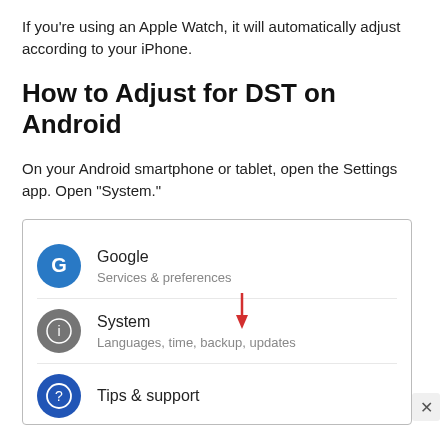If you're using an Apple Watch, it will automatically adjust according to your iPhone.
How to Adjust for DST on Android
On your Android smartphone or tablet, open the Settings app. Open “System.”
[Figure (screenshot): Android Settings app screenshot showing menu items: Google (Services & preferences), System (Languages, time, backup, updates) with a red downward arrow pointing to it, and Tips & support. There is an X close button on the right side.]